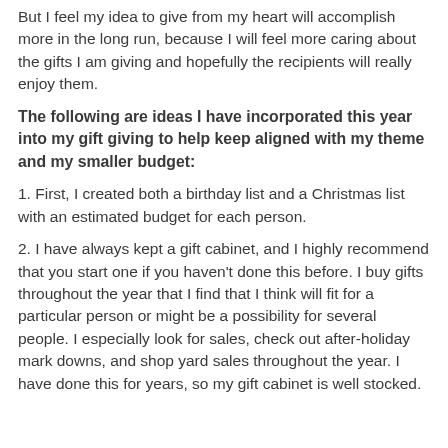But I feel my idea to give from my heart will accomplish more in the long run, because I will feel more caring about the gifts I am giving and hopefully the recipients will really enjoy them.
The following are ideas I have incorporated this year into my gift giving to help keep aligned with my theme and my smaller budget:
1. First, I created both a birthday list and a Christmas list with an estimated budget for each person.
2. I have always kept a gift cabinet, and I highly recommend that you start one if you haven't done this before. I buy gifts throughout the year that I find that I think will fit for a particular person or might be a possibility for several people. I especially look for sales, check out after-holiday mark downs, and shop yard sales throughout the year. I have done this for years, so my gift cabinet is well stocked.